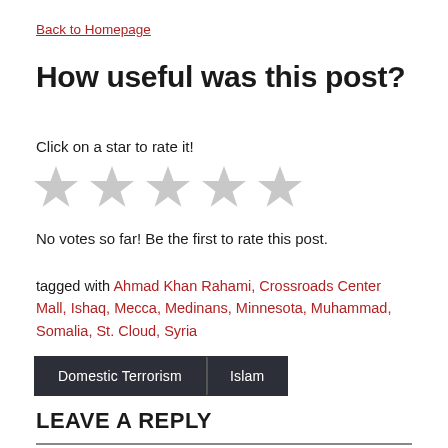Back to Homepage
How useful was this post?
Click on a star to rate it!
[Figure (other): Five grey star icons for rating]
No votes so far! Be the first to rate this post.
tagged with Ahmad Khan Rahami, Crossroads Center Mall, Ishaq, Mecca, Medinans, Minnesota, Muhammad, Somalia, St. Cloud, Syria
Domestic Terrorism  Islam
LEAVE A REPLY